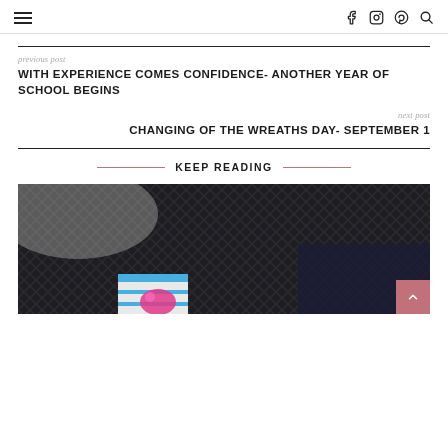≡  f  Instagram  Pinterest  Search
previous post
WITH EXPERIENCE COMES CONFIDENCE- ANOTHER YEAR OF SCHOOL BEGINS
next post
CHANGING OF THE WREATHS DAY- SEPTEMBER 1
KEEP READING
[Figure (photo): Dark herringbone fabric with a colorful notebook or book visible in the lower portion, on a light background]